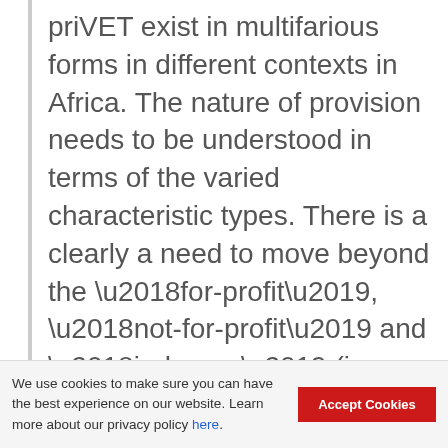priVET exist in multifarious forms in different contexts in Africa. The nature of provision needs to be understood in terms of the varied characteristic types. There is a clearly a need to move beyond the ‘for-profit’, ‘not-for-profit’ and ‘in-house’ (in company training) provision forms. While this is a useful starting point, there needs to be an understanding of the phenomenon from the perspective of its responsiveness to ‘client’ types (pre-employed, unemployed and employed); purposes (employment or non-employed) and various provision forms (non-
We use cookies to make sure you can have the best experience on our website. Learn more about our privacy policy here. Accept Cookies